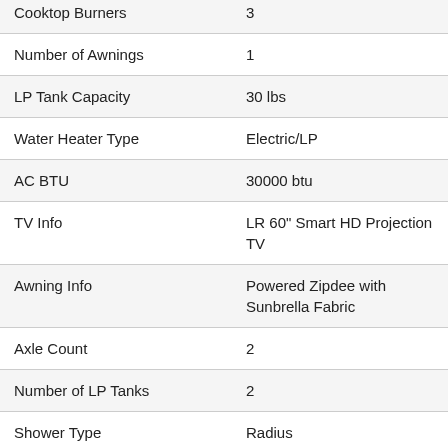| Feature | Value |
| --- | --- |
| Cooktop Burners | 3 |
| Number of Awnings | 1 |
| LP Tank Capacity | 30 lbs |
| Water Heater Type | Electric/LP |
| AC BTU | 30000 btu |
| TV Info | LR 60" Smart HD Projection TV |
| Awning Info | Powered Zipdee with Sunbrella Fabric |
| Axle Count | 2 |
| Number of LP Tanks | 2 |
| Shower Type | Radius |
| Electrical Service | 50 amp |